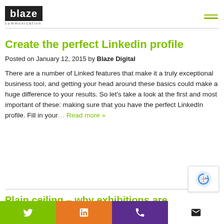blaze communication
Create the perfect Linkedin profile
Posted on January 12, 2015 by Blaze Digital
There are a number of Linked features that make it a truly exceptional business tool, and getting your head around these basics could make a huge difference to your results. So let’s take a look at the first and most important of these: making sure that you have the perfect LinkedIn profile. Fill in your… Read more »
Plain ceiling – why exhibitions are still